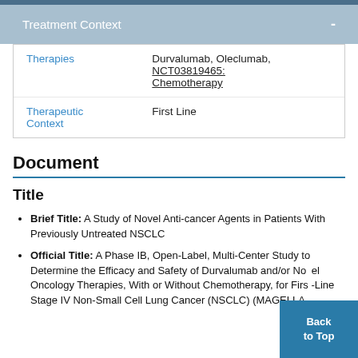Treatment Context
| Field | Value |
| --- | --- |
| Therapies | Durvalumab, Oleclumab, NCT03819465: Chemotherapy |
| Therapeutic Context | First Line |
Document
Title
Brief Title: A Study of Novel Anti-cancer Agents in Patients With Previously Untreated NSCLC
Official Title: A Phase IB, Open-Label, Multi-Center Study to Determine the Efficacy and Safety of Durvalumab and/or Novel Oncology Therapies, With or Without Chemotherapy, for First-Line Stage IV Non-Small Cell Lung Cancer (NSCLC) (MAGELLA...)